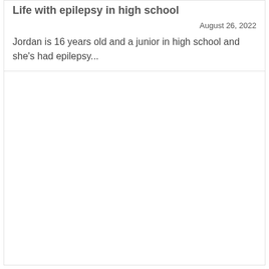Life with epilepsy in high school
August 26, 2022
Jordan is 16 years old and a junior in high school and she's had epilepsy...